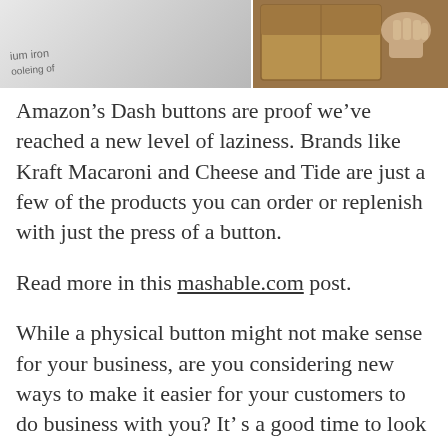[Figure (photo): Two-part image: left side shows a product label surface with text 'ium iron' and partial text visible, right side shows hands holding or opening a cardboard box.]
Amazon’s Dash buttons are proof we’ve reached a new level of laziness. Brands like Kraft Macaroni and Cheese and Tide are just a few of the products you can order or replenish with just the press of a button.
Read more in this mashable.com post.
While a physical button might not make sense for your business, are you considering new ways to make it easier for your customers to do business with you? It’ s a good time to look at how you are doing things and adapt your processes to how customers want to do